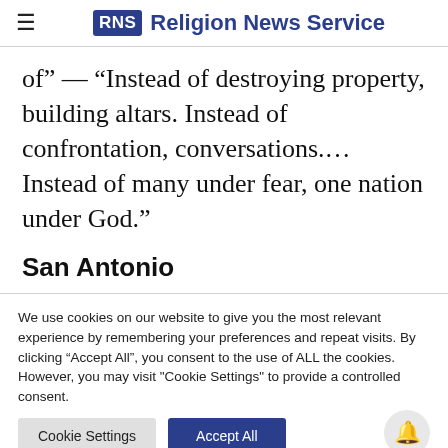RNS Religion News Service
of” — “Instead of destroying property, building altars. Instead of confrontation, conversations.… Instead of many under fear, one nation under God.”
San Antonio
We use cookies on our website to give you the most relevant experience by remembering your preferences and repeat visits. By clicking “Accept All”, you consent to the use of ALL the cookies. However, you may visit "Cookie Settings" to provide a controlled consent.
Cookie Settings | Accept All